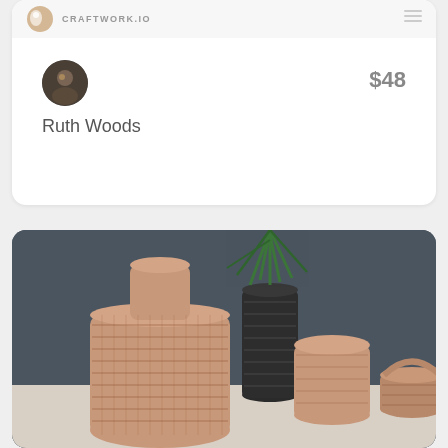[Figure (screenshot): App card showing user avatar, name Ruth Woods, and price $48 on a white rounded card with a top navigation bar with logo and hamburger menu]
Ruth Woods
$48
[Figure (photo): Photo of woven rattan/wicker vases and baskets in pink/tan tones with a black woven vase and a small plant with green leaves, against a dark gray background]